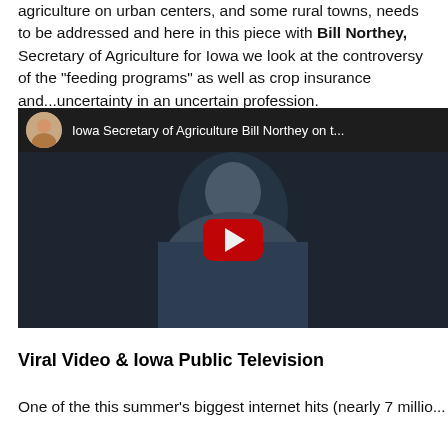agriculture on urban centers, and some rural towns, needs to be addressed and here in this piece with Bill Northey, Secretary of Agriculture for Iowa we look at the controversy of the "feeding programs" as well as crop insurance and...uncertainty in an uncertain profession.
[Figure (screenshot): YouTube video thumbnail showing Iowa Secretary of Agriculture Bill Northey on t... with a dark background showing a man in a blue shirt, with a red YouTube play button in the center.]
Viral Video & Iowa Public Television
One of the this summer's biggest internet hits (nearly 7 millio...